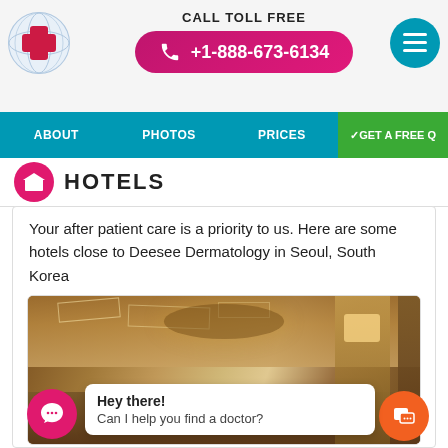[Figure (logo): Medical tourism website logo with red cross on globe]
CALL TOLL FREE
+1-888-673-6134
[Figure (other): Hamburger menu button (teal circle with three horizontal lines)]
ABOUT  PHOTOS  PRICES  ✓GET A FREE Q
HOTELS
Your after patient care is a priority to us. Here are some hotels close to Deesee Dermatology in Seoul, South Korea
[Figure (photo): Hotel lobby interior photograph showing warm lighting, circular ceiling, lamp and curtains]
Hey there!
Can I help you find a doctor?